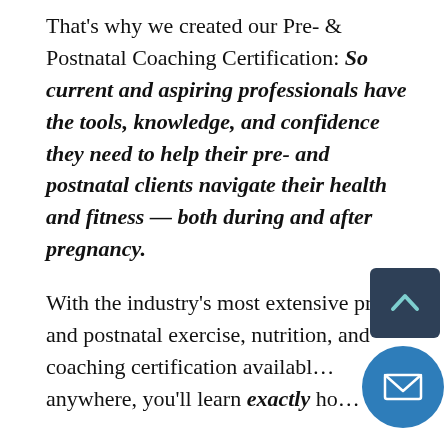That's why we created our Pre- & Postnatal Coaching Certification: So current and aspiring professionals have the tools, knowledge, and confidence they need to help their pre- and postnatal clients navigate their health and fitness — both during and after pregnancy.

With the industry's most extensive pre- and postnatal exercise, nutrition, and coaching certification available anywhere, you'll learn exactly ho...